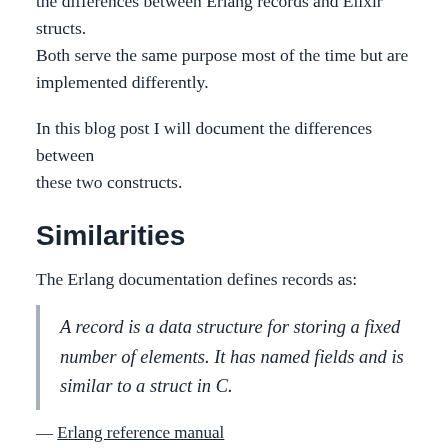the differences between Erlang records and Elixir structs. Both serve the same purpose most of the time but are implemented differently.
In this blog post I will document the differences between these two constructs.
Similarities
The Erlang documentation defines records as:
A record is a data structure for storing a fixed number of elements. It has named fields and is similar to a struct in C.
— Erlang reference manual
I couldn't find a succinct definition of Elixir structs on the